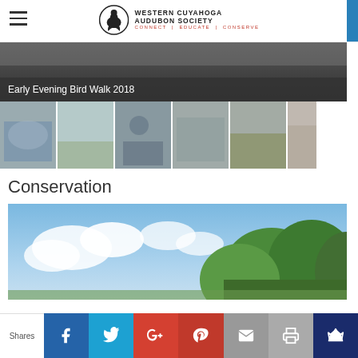Western Cuyahoga Audubon Society — CONNECT | EDUCATE | CONSERVE
[Figure (photo): Banner image for Early Evening Bird Walk 2018 with dark overlay and title text]
Early Evening Bird Walk 2018
[Figure (photo): Row of thumbnail photos from the Early Evening Bird Walk 2018 showing groups of people outdoors]
Conservation
[Figure (photo): Landscape photo showing blue sky with clouds and green trees for the Conservation section]
Shares — Facebook, Twitter, Google+, Pinterest, Email, Print, Crown sharing buttons